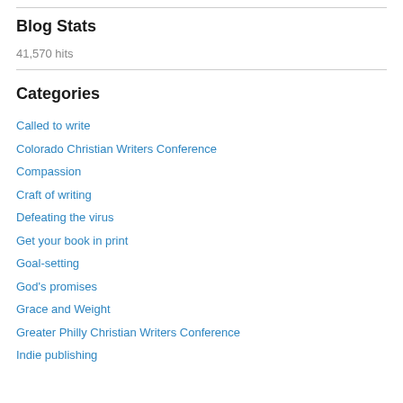Blog Stats
41,570 hits
Categories
Called to write
Colorado Christian Writers Conference
Compassion
Craft of writing
Defeating the virus
Get your book in print
Goal-setting
God's promises
Grace and Weight
Greater Philly Christian Writers Conference
Indie publishing